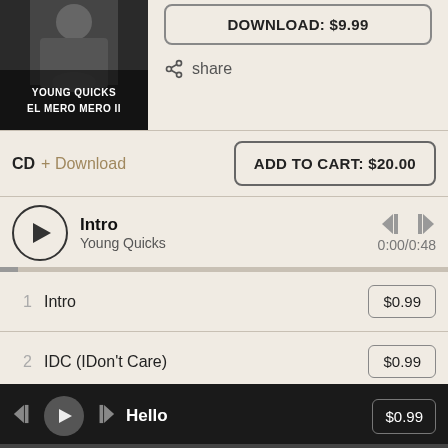[Figure (photo): Album art for Young Quicks El Mero Mero II showing a person in gray clothing seated with hands clasped, dark background, white bold text overlay]
DOWNLOAD: $9.99
share
CD + Download
ADD TO CART: $20.00
Intro
Young Quicks
0:00/0:48
1  Intro  $0.99
2  IDC (IDon't Care)  $0.99
3  Tone It Down  $0.99
4  There He Go (feat. Lil Blacky  $0.99
Hello  $0.99